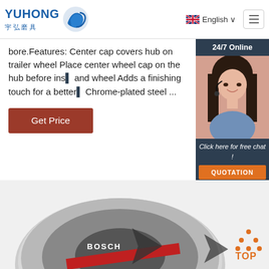[Figure (logo): Yuhong brand logo with Chinese characters 宇弘磨具 and blue wave icon]
English
bore.Features: Center cap covers hub on trailer wheel Place center wheel cap on the hub before ins... and wheel Adds a finishing touch for a better... Chrome-plated steel ...
[Figure (photo): Customer service representative with headset - 24/7 Online chat widget with QUOTATION button]
Get Price
[Figure (photo): Two Bosch grinding/cutting disc wheel products shown from above]
[Figure (other): TOP navigation button with orange dots and text]